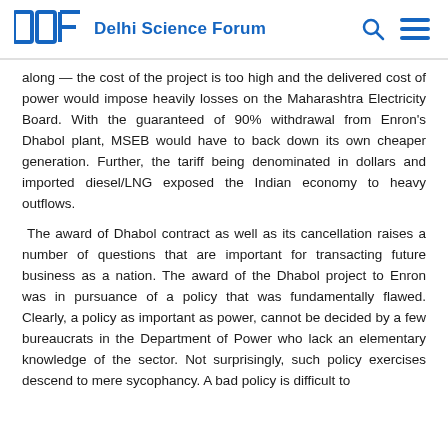DSF Delhi Science Forum
along — the cost of the project is too high and the delivered cost of power would impose heavily losses on the Maharashtra Electricity Board. With the guaranteed of 90% withdrawal from Enron's Dhabol plant, MSEB would have to back down its own cheaper generation. Further, the tariff being denominated in dollars and imported diesel/LNG exposed the Indian economy to heavy outflows.
The award of Dhabol contract as well as its cancellation raises a number of questions that are important for transacting future business as a nation. The award of the Dhabol project to Enron was in pursuance of a policy that was fundamentally flawed. Clearly, a policy as important as power, cannot be decided by a few bureaucrats in the Department of Power who lack an elementary knowledge of the sector. Not surprisingly, such policy exercises descend to mere sycophancy. A bad policy is difficult to